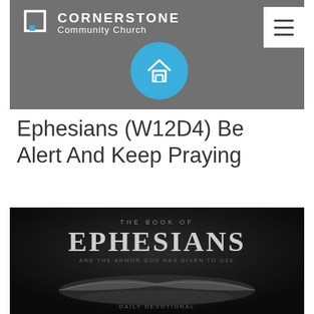[Figure (logo): Cornerstone Community Church logo with nav header on grey background with home icon circle]
Ephesians (W12D4) Be Alert And Keep Praying
[Figure (photo): Dark book cover image with large text EPHESIANS and an open bible, with additional subtitle text and author name]